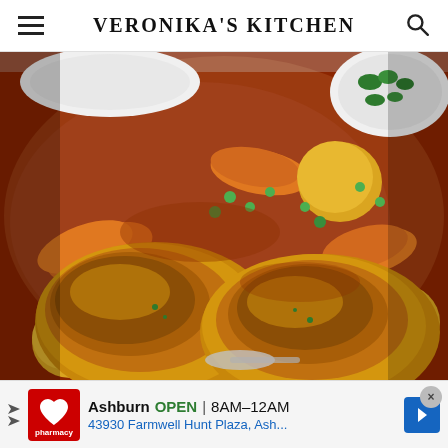VERONIKA'S KITCHEN
[Figure (photo): Overhead close-up of a Dutch oven or large pot containing braised chicken thighs with crispy golden-brown skin, surrounded by carrots, baby potatoes, green peas in a rich red-brown broth. A white bowl with chopped green herbs visible in top right corner.]
Ashburn OPEN 8AM–12AM 43930 Farmwell Hunt Plaza, Ash...